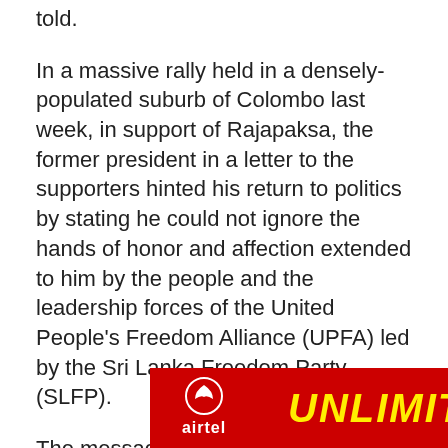told.
In a massive rally held in a densely-populated suburb of Colombo last week, in support of Rajapaksa, the former president in a letter to the supporters hinted his return to politics by stating he could not ignore the hands of honor and affection extended to him by the people and the leadership forces of the United People's Freedom Alliance (UPFA) led by the Sri Lanka Freedom Party (SLFP).
The message read out to the applause of a large crowd said, “I would like to emphasize that I cannot ignore the aspirations of the people who think about the country and had dedicated themselves for the country,” he said.
“I would like to state again that I would embrace with honor and comradely the hands of comradeship extended by the people and the leadership forces of the UPFA led by the SLFP,” the message quoting Rajapakse read.
Former
[Figure (advertisement): Airtel advertisement banner with red background, airtel logo on left and UNLIMITED text in yellow on the right]